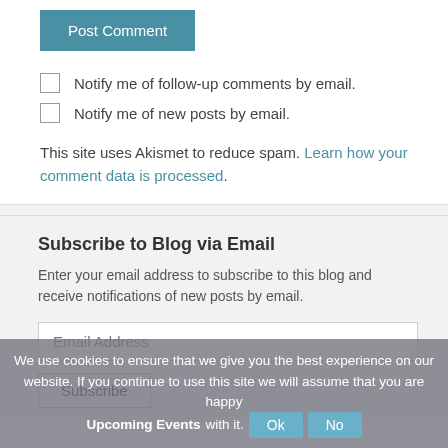Post Comment
Notify me of follow-up comments by email.
Notify me of new posts by email.
This site uses Akismet to reduce spam. Learn how your comment data is processed.
Subscribe to Blog via Email
Enter your email address to subscribe to this blog and receive notifications of new posts by email.
Email Address
Subscribe
We use cookies to ensure that we give you the best experience on our website. If you continue to use this site we will assume that you are happy with it.
Upcoming Events
Ok
No